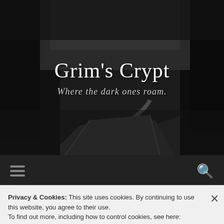[Figure (photo): Dark atmospheric photo of a winding road through dense dark trees, black and white/dark toned]
Grim's Crypt
Where the dark ones roam.
[Figure (other): Navigation bar with hamburger menu icon on the left and search magnifying glass icon on the right]
The Girl in the Pale Blue Dress: Part 4
Privacy & Cookies: This site uses cookies. By continuing to use this website, you agree to their use.
To find out more, including how to control cookies, see here: Cookie Policy
Close and accept